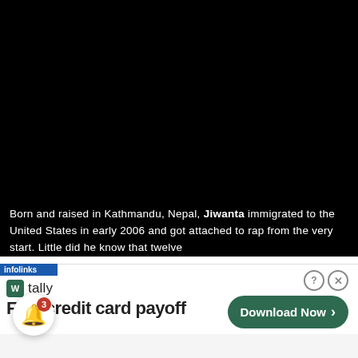[Figure (screenshot): Black video player area taking up the top portion of the screen]
Born and raised in Kathmandu, Nepal, Jiwanta immigrated to the United States in early 2006 and got attached to rap from the very start. Little did he know that twelve
[Figure (screenshot): Advertisement banner for Tally app showing 'Fast credit card payoff' with a green Download Now button, and a notification bell icon with badge showing 3]
[Figure (screenshot): White area at bottom of page]